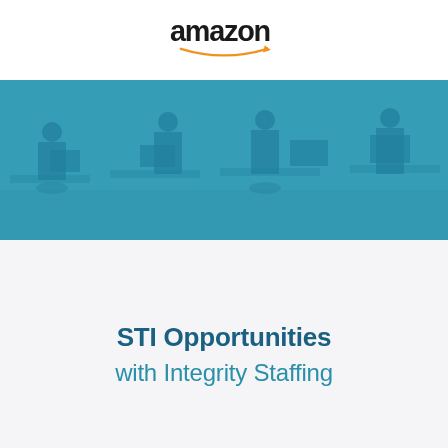[Figure (logo): Amazon logo with smile arrow underneath]
[Figure (photo): Teal-tinted office scene with people working at desks]
STI Opportunities with Integrity Staffing